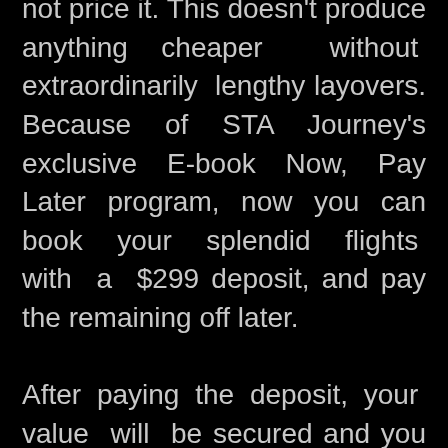not price it. This doesn't produce anything cheaper without extraordinarily lengthy layovers. Because of STA Journey's exclusive E-book Now, Pay Later program, now you can book your splendid flights with a $299 deposit, and pay the remaining off later.

After paying the deposit, your value will be secured and you can pay off the total amount 60 days previous to your scheduled departure. When asked by BCD Travel or the UC Journey Center, both online or when talking with an agent, what form of cost you might be utilizing, simply give them the DBID number you created for this journey. After